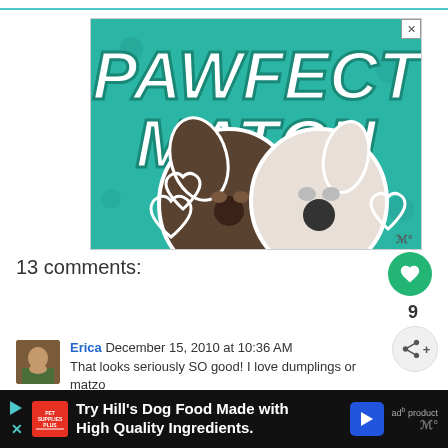[Figure (photo): Advertisement banner: 'PAWFECT MATCH' in large bold white text on a teal background with two dog head cutouts and heart outlines. A small X close button in top right corner.]
13 comments:
[Figure (illustration): Green circular like/heart button with heart icon, showing count of 9 below it, and a share button beneath.]
[Figure (photo): User avatar thumbnail for commenter Erica.]
Erica December 15, 2010 at 10:36 AM
That looks seriously SO good! I love dumplings or matzo
[Figure (photo): Bottom advertisement bar: Pet Supplies Plus logo, play button, 'Try Hill's Dog Food Made with High Quality Ingredients.' text with navigation arrow icon.]